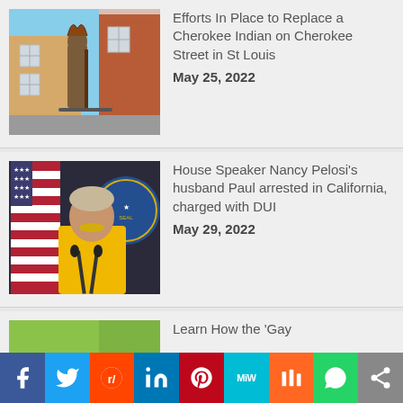[Figure (photo): Outdoor photo of a Cherokee Indian statue on a street in St Louis, with brick buildings in background]
Efforts In Place to Replace a Cherokee Indian on Cherokee Street in St Louis
May 25, 2022
[Figure (photo): Nancy Pelosi at a press conference podium in front of an American flag, wearing a yellow outfit]
House Speaker Nancy Pelosi's husband Paul arrested in California, charged with DUI
May 29, 2022
[Figure (photo): Partial green-colored image visible at bottom]
Learn How the 'Gay
f  Twitter  Reddit  in  Pinterest  MiW  Mix  WhatsApp  Share